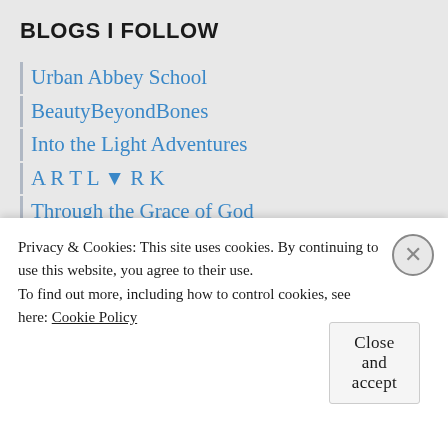BLOGS I FOLLOW
Urban Abbey School
BeautyBeyondBones
Into the Light Adventures
A R T L ▼ R K
Through the Grace of God
Luís Henriques
Malcolm Guite
The Reliable Narrator
Nemo's Library
The Apocalypse of Krypton
Jnana's Red Barn
Energetic Procession
Privacy & Cookies: This site uses cookies. By continuing to use this website, you agree to their use.
To find out more, including how to control cookies, see here: Cookie Policy
Close and accept